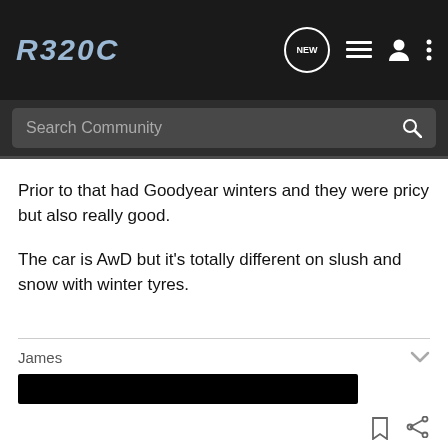R320C
Prior to that had Goodyear winters and they were pricy but also really good.
The car is AwD but it's totally different on slush and snow with winter tyres.
James
[Figure (other): Redacted black bar]
AndyV1990 · Registered
Joined Apr 16, 2015 · 1,441 Posts